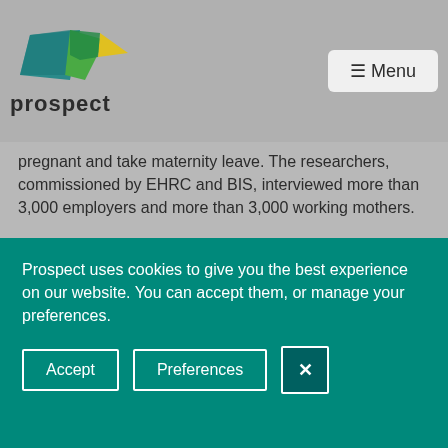prospect | Menu
pregnant and take maternity leave. The researchers, commissioned by EHRC and BIS, interviewed more than 3,000 employers and more than 3,000 working mothers.
The main findings were:
11% of the workers reported they were either dismissed, made redundant, or treated so poorly
Prospect uses cookies to give you the best experience on our website. You can accept them, or manage your preferences.
Accept | Preferences | X